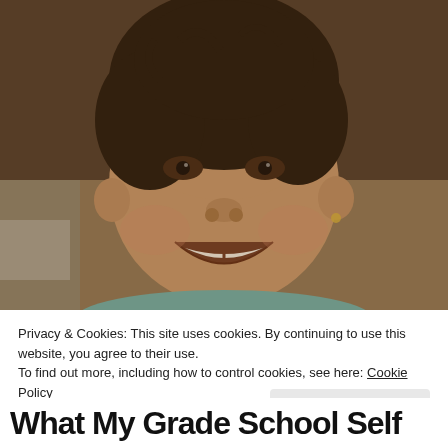[Figure (photo): Vintage sepia-toned photograph of a young smiling Asian child with dark hair, wearing a light teal top. The child has a big smile showing teeth. Background is dark brownish.]
Privacy & Cookies: This site uses cookies. By continuing to use this website, you agree to their use.
To find out more, including how to control cookies, see here: Cookie Policy
Close and accept
What My Grade School Self